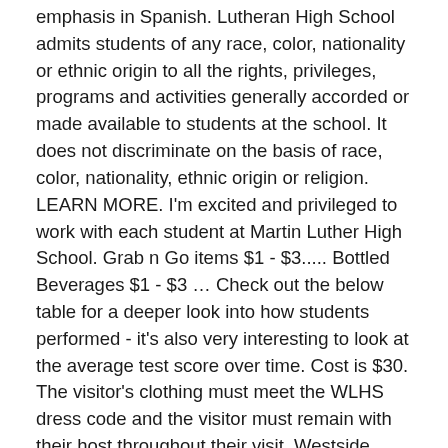emphasis in Spanish. Lutheran High School admits students of any race, color, nationality or ethnic origin to all the rights, privileges, programs and activities generally accorded or made available to students at the school. It does not discriminate on the basis of race, color, nationality, ethnic origin or religion. LEARN MORE. I'm excited and privileged to work with each student at Martin Luther High School. Grab n Go items $1 - $3..... Bottled Beverages $1 - $3 … Check out the below table for a deeper look into how students performed - it's also very interesting to look at the average test score over time. Cost is $30. The visitor's clothing must meet the WLHS dress code and the visitor must remain with their host throughout their visit. Westside Christian School 6815 Schneider Road Middleton, WI 53562 (608) 831-8540 Wisconsin Lutheran High School is a private high school affliated with the Wisconsin Evangelical Lutheran Synod. Website: VISIT SCHOOL WEBSITE. Founded in 1903, Wisconsin Lutheran High School (WLHS) is a family of students, teachers and staff working and learning together in a safe, caring and Christian environment. Get 24⁄7 customer support